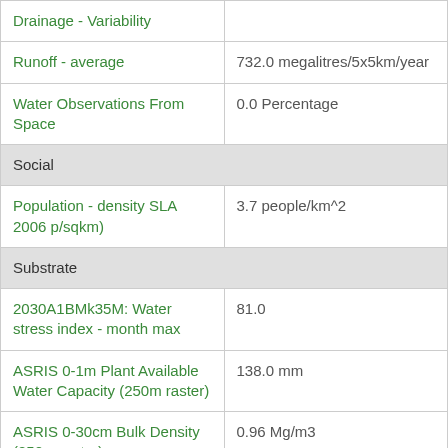| Attribute | Value |
| --- | --- |
| Drainage - Variability |  |
| Runoff - average | 732.0 megalitres/5x5km/year |
| Water Observations From Space | 0.0 Percentage |
| Social |  |
| Population - density SLA 2006 p/sqkm) | 3.7 people/km^2 |
| Substrate |  |
| 2030A1BMk35M: Water stress index - month max | 81.0 |
| ASRIS 0-1m Plant Available Water Capacity (250m raster) | 138.0 mm |
| ASRIS 0-30cm Bulk Density (250m raster) | 0.96 Mg/m3 |
| ASRIS 0-30cm Clay Content (250m raster) | 31.0 % |
| Bulk density | 0.8167442 Mg/m^3 |